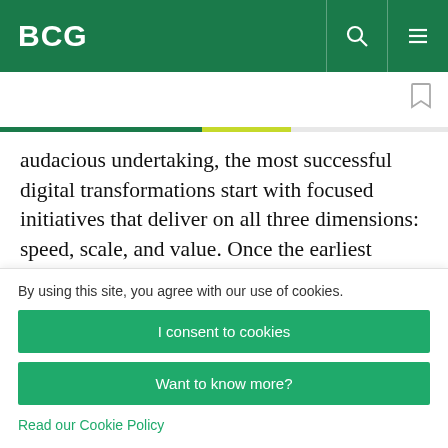BCG
audacious undertaking, the most successful digital transformations start with focused initiatives that deliver on all three dimensions: speed, scale, and value. Once the earliest digital initiatives prove their value, they catalyze the next round of more
By using this site, you agree with our use of cookies.
I consent to cookies
Want to know more?
Read our Cookie Policy